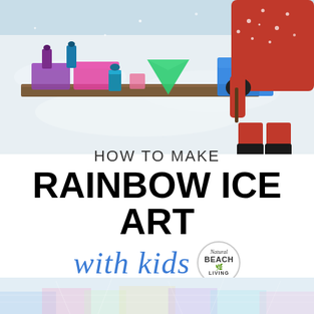[Figure (photo): A child in a red winter jacket standing in snow, painting colorful ice blocks with food coloring. Various colored ice blocks (purple, pink, green, blue) are lined up on a wooden board in the snow.]
HOW TO MAKE
RAINBOW ICE ART with kids
[Figure (logo): Natural Beach Living logo in a circle]
[Figure (photo): Close-up of colorful ice with rainbow pastel colors, bottom strip]